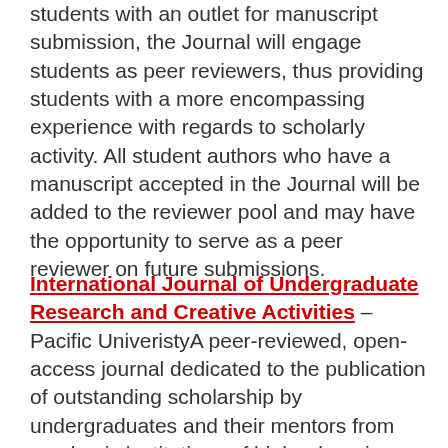develop into professionals. In addition to providing students with an outlet for manuscript submission, the Journal will engage students as peer reviewers, thus providing students with a more encompassing experience with regards to scholarly activity. All student authors who have a manuscript accepted in the Journal will be added to the reviewer pool and may have the opportunity to serve as a peer reviewer on future submissions.
International Journal of Undergraduate Research and Creative Activities – Pacific UniveristyA peer-reviewed, open-access journal dedicated to the publication of outstanding scholarship by undergraduates and their mentors from academic institutions of higher learning. The Journal accepts submissions of research articles, fiction, poetry, photography, videos, and other creative works from undergraduate students in all academic disciplines.